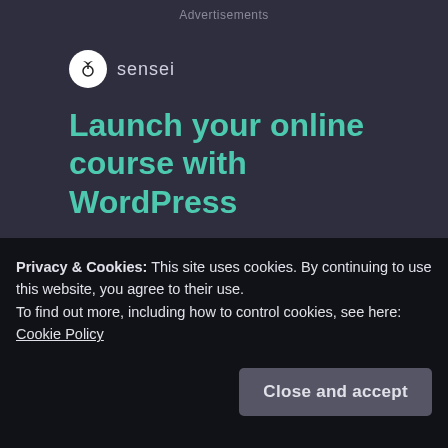Advertisements
[Figure (logo): Sensei logo with circular tree icon and the word 'sensei']
Launch your online course with WordPress
Learn More
Powered by WordPress.com
REPORT THIS AD
Privacy & Cookies: This site uses cookies. By continuing to use this website, you agree to their use.
To find out more, including how to control cookies, see here: Cookie Policy
Close and accept